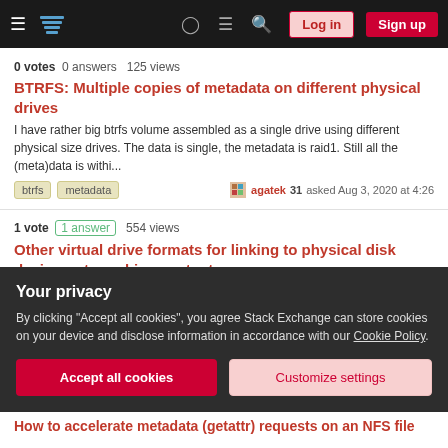Stack Exchange navigation bar with Log in and Sign up buttons
0 votes  0 answers  125 views
BTRFS: Multiple copies of metadata on different physical drives
I have rather big btrfs volume assembled as a single drive using different physical size drives. The data is single, the metadata is raid1. Still all the (meta)data is withi...
btrfs  metadata  agatek 31 asked Aug 3, 2020 at 4:26
1 vote  1 answer  554 views
Other virtual drive formats for linking to physical disk device or to archive content
It is known that you can link to physical disk device through VMDK virtual drive...
Your privacy
By clicking "Accept all cookies", you agree Stack Exchange can store cookies on your device and disclose information in accordance with our Cookie Policy.
Accept all cookies
Customize settings
How to accelerate metadata (getattr) requests on an NFS file